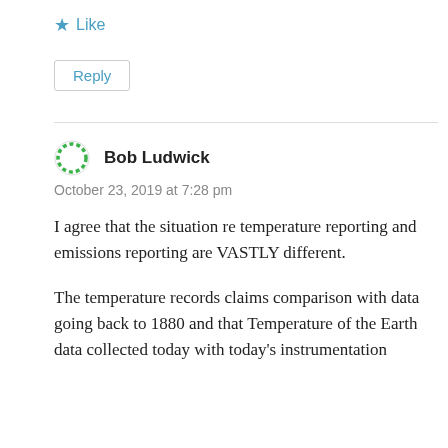★ Like
Reply
Bob Ludwick
October 23, 2019 at 7:28 pm
I agree that the situation re temperature reporting and emissions reporting are VASTLY different.
The temperature records claims comparison with data going back to 1880 and that Temperature of the Earth data collected today with today's instrumentation